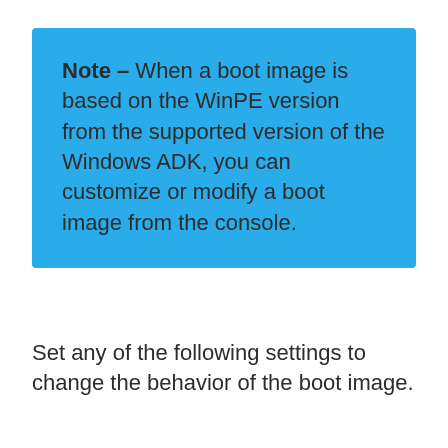Note – When a boot image is based on the WinPE version from the supported version of the Windows ADK, you can customize or modify a boot image from the console.
Set any of the following settings to change the behavior of the boot image.